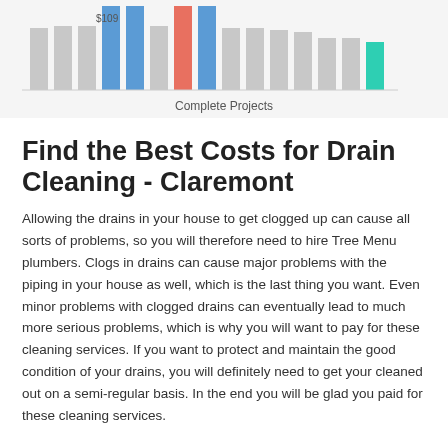[Figure (bar-chart): Complete Projects]
Find the Best Costs for Drain Cleaning - Claremont
Allowing the drains in your house to get clogged up can cause all sorts of problems, so you will therefore need to hire Tree Menu plumbers. Clogs in drains can cause major problems with the piping in your house as well, which is the last thing you want. Even minor problems with clogged drains can eventually lead to much more serious problems, which is why you will want to pay for these cleaning services. If you want to protect and maintain the good condition of your drains, you will definitely need to get your cleaned out on a semi-regular basis. In the end you will be glad you paid for these cleaning services.